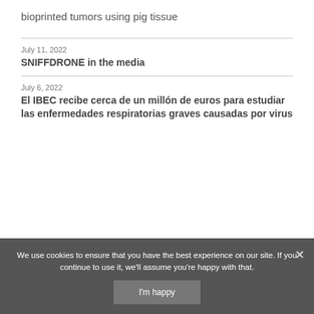bioprinted tumors using pig tissue
July 11, 2022
SNIFFDRONE in the media
July 6, 2022
El IBEC recibe cerca de un millón de euros para estudiar las enfermedades respiratorias graves causadas por virus
We use cookies to ensure that you have the best experience on our site. If you continue to use it, we'll assume you're happy with that.